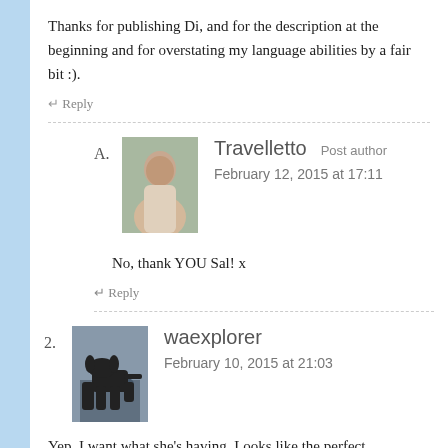Thanks for publishing Di, and for the description at the beginning and for overstating my language abilities by a fair bit :).
↵ Reply
Travelletto  Post author
February 12, 2015 at 17:11
No, thank YOU Sal! x
↵ Reply
waexplorer
February 10, 2015 at 21:03
Yep, I want what she's having. Looks like the perfect